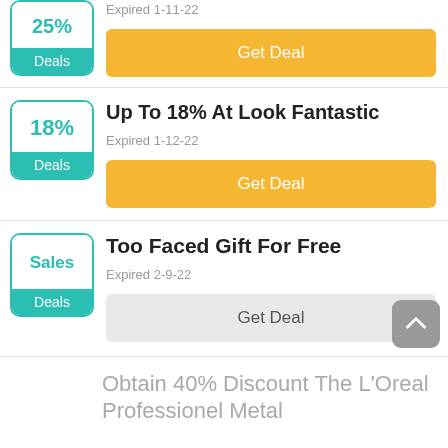[Figure (other): Partial deal card at top showing teal Deals badge and expired date 1-11-22 with yellow Get Deal button]
Up To 18% At Look Fantastic
Expired 1-12-22
Get Deal
Too Faced Gift For Free
Expired 2-9-22
Get Deal
Obtain 40% Discount The L'Oreal Professionel Metal